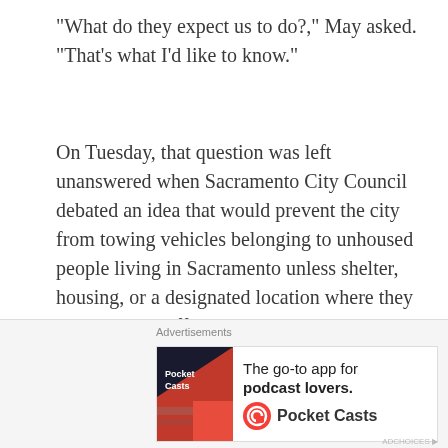“What do they expect us to do?,” May asked. “That’s what I’d like to know.”
On Tuesday, that question was left unanswered when Sacramento City Council debated an idea that would prevent the city from towing vehicles belonging to unhoused people living in Sacramento unless shelter, housing, or a designated location where they can park was offered. The proposal was ultimately turned down by city council.
People living in vehicles and encampments along the stretch of Grand Ave and Roseville Road had become a common sight in North Sacramento.
[Figure (other): Advertisement banner for Pocket Casts podcast app. Shows 'The go-to app for podcast lovers.' with Pocket Casts logo.]